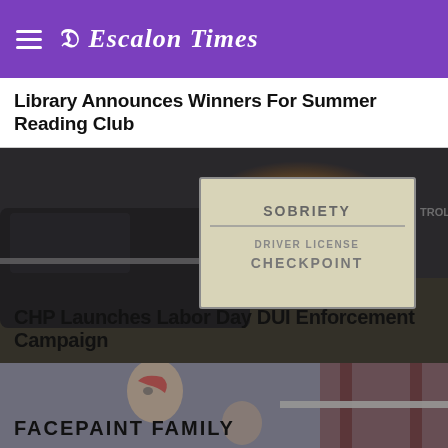The Escalon Times
Library Announces Winners For Summer Reading Club
[Figure (photo): Police car and sobriety checkpoint sign at night]
CHP Launches Labor Day DUI Enforcement Campaign
[Figure (photo): Child with face paint at community event, person on fire truck in background]
FACEPAINT FAMILY
[Figure (photo): Building rooftop with flagpole, blue sky background]
City Police Personnel See New Officers